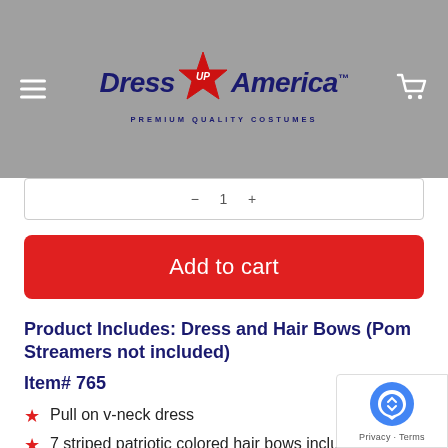[Figure (logo): Dress Up America logo with red star and tagline PREMIUM QUALITY COSTUMES on grey header bar with hamburger menu and cart icon]
Add to cart
Product Includes: Dress and Hair Bows (Pom Streamers not included)
Item# 765
Pull on v-neck dress
7 striped patriotic colored hair bows included
Gold trimming and 3 pom poms at the waist (cheerleader pom poms not included)